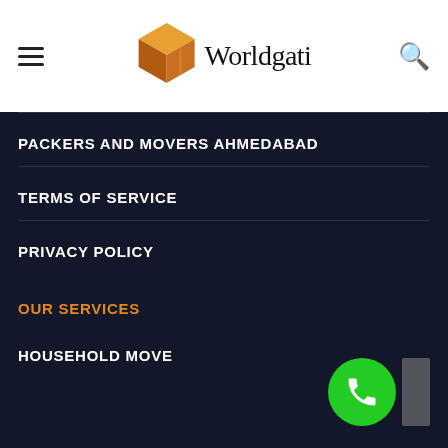Worldgati
PACKERS AND MOVERS AHMEDABAD
TERMS OF SERVICE
PRIVACY POLICY
OUR SERVICES
HOUSEHOLD MOVE